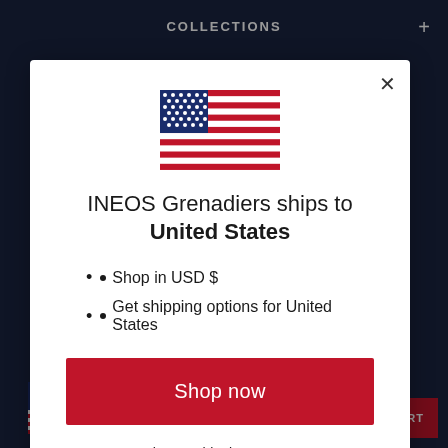COLLECTIONS
[Figure (illustration): US flag SVG icon displayed in the modal dialog]
INEOS Grenadiers ships to United States
Shop in USD $
Get shipping options for United States
Shop now
Change shipping country
£60.00
ADD TO CART